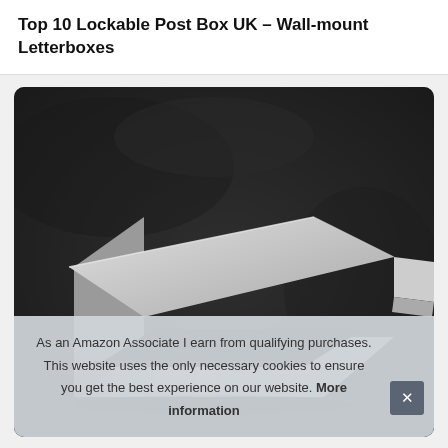Top 10 Lockable Post Box UK – Wall-mount Letterboxes
[Figure (photo): Close-up photo of a brushed stainless steel wall-mounted letterbox/post box against a dark textured background. The box is shown at an angle revealing its rectangular slot opening and metallic brushed finish.]
As an Amazon Associate I earn from qualifying purchases. This website uses the only necessary cookies to ensure you get the best experience on our website. More information